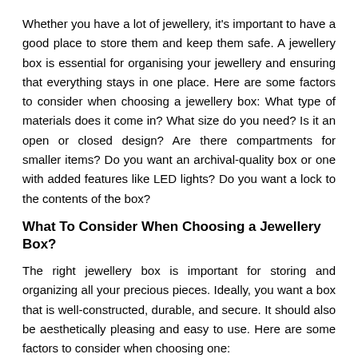Whether you have a lot of jewellery, it's important to have a good place to store them and keep them safe. A jewellery box is essential for organising your jewellery and ensuring that everything stays in one place. Here are some factors to consider when choosing a jewellery box: What type of materials does it come in? What size do you need? Is it an open or closed design? Are there compartments for smaller items? Do you want an archival-quality box or one with added features like LED lights? Do you want a lock to the contents of the box?
What To Consider When Choosing a Jewellery Box?
The right jewellery box is important for storing and organizing all your precious pieces. Ideally, you want a box that is well-constructed, durable, and secure. It should also be aesthetically pleasing and easy to use. Here are some factors to consider when choosing one:
Size: The size of the box will determine how many jewellery items can be stored inside it. You may need a bigger box if you have a lot of jewellery or want to store other small items in it